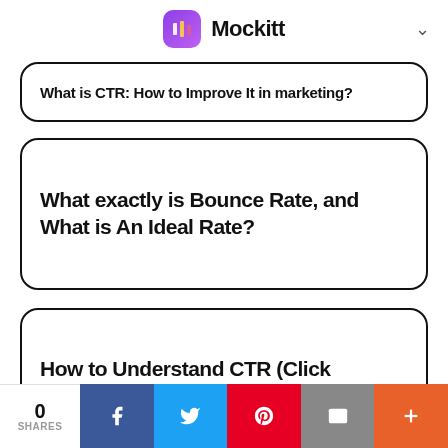Mockitt
What is CTR: How to Improve It in marketing?
What exactly is Bounce Rate, and What is An Ideal Rate?
How to Understand CTR (Click Through Rate) As a UI/UX Designer?
Bounce Rate Google Analytics: Basics You Need to
0 SHARES